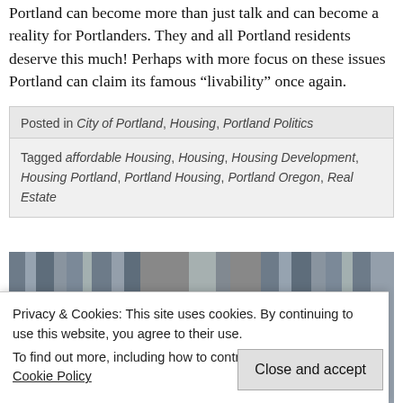With the right attention to this issue, additional housing in Portland can become more than just talk and can become a reality for Portlanders. They and all Portland residents deserve this much! Perhaps with more focus on these issues Portland can claim its famous “livability” once again.
Posted in City of Portland, Housing, Portland Politics
Tagged affordable Housing, Housing, Housing Development, Housing Portland, Portland Housing, Portland Oregon, Real Estate
[Figure (photo): Partial photo showing what appears to be people or figures near curtains or fabric, cropped at the bottom of the page]
Privacy & Cookies: This site uses cookies. By continuing to use this website, you agree to their use. To find out more, including how to control cookies, see here: Cookie Policy